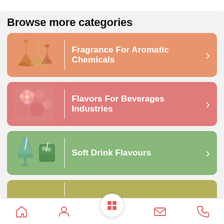Browse more categories
[Figure (screenshot): Category card: Fragrance For Aromatic Chemicals with orange background and lab flask icon]
[Figure (screenshot): Category card: Flavors For Beverages Industries with pink background and floral/fruit image]
[Figure (screenshot): Category card: Soft Drink Flavours with green background and drinks icon]
[Figure (screenshot): Partial category card with olive/yellow-green background, partially visible]
Navigation bar with home, profile, grid, mail, and phone icons